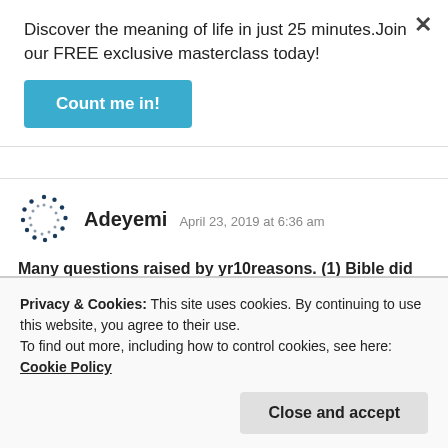Discover the meaning of life in just 25 minutes.Join our FREE exclusive masterclass today!
Count me in!
Adeyemi  April 23, 2019 at 6:36 am
Many questions raised by yr10reasons. (1) Bible did not give the day Christ died, so how did u get the idea of Wed.(2) Without resurrection, the Christian Faith has no basis, so how can we celebrate d death only, He is no longer in d
Privacy & Cookies: This site uses cookies. By continuing to use this website, you agree to their use.
To find out more, including how to control cookies, see here: Cookie Policy
Close and accept
Finaly, did Jesus or apostle command that we